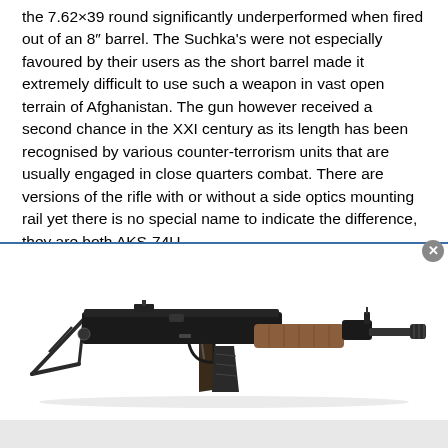the 7.62×39 round significantly underperformed when fired out of an 8" barrel. The Suchka's were not especially favoured by their users as the short barrel made it extremely difficult to use such a weapon in vast open terrain of Afghanistan. The gun however received a second chance in the XXI century as its length has been recognised by various counter-terrorism units that are usually engaged in close quarters combat. There are versions of the rifle with or without a side optics mounting rail yet there is no special name to indicate the difference, they are both AKS-74U.
[Figure (photo): Photograph of an AKS-74U assault rifle with folding stock extended, wooden pistol grip and foregrip, showing the full profile of the short-barreled rifle against a white background.]